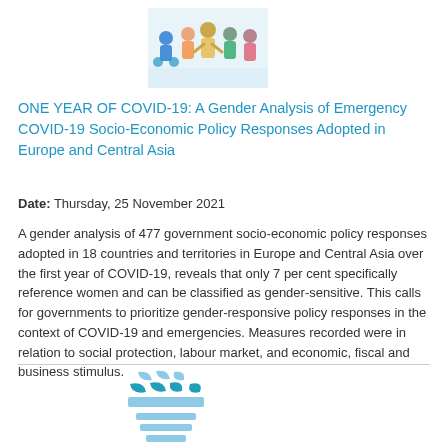[Figure (illustration): Colorful illustration of diverse people including a person in a wheelchair, representing community and diversity]
ONE YEAR OF COVID-19: A Gender Analysis of Emergency COVID-19 Socio-Economic Policy Responses Adopted in Europe and Central Asia
Date: Thursday, 25 November 2021
A gender analysis of 477 government socio-economic policy responses adopted in 18 countries and territories in Europe and Central Asia over the first year of COVID-19, reveals that only 7 per cent specifically reference women and can be classified as gender-sensitive. This calls for governments to prioritize gender-responsive policy responses in the context of COVID-19 and emergencies. Measures recorded were in relation to social protection, labour market, and economic, fiscal and business stimulus.
[Figure (logo): UN Women logo — light blue stylized emblem with horizontal bars forming a circular/chalice shape]